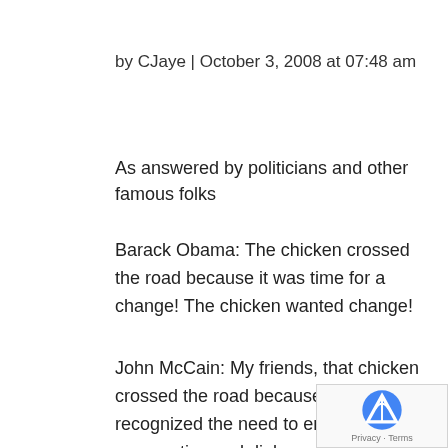by CJaye | October 3, 2008 at 07:48 am
As answered by politicians and other famous folks
Barack Obama: The chicken crossed the road because it was time for a change! The chicken wanted change!
John McCain: My friends, that chicken crossed the road because he recognized the need to engage in cooperation and dialogue with all the chickens on the other side of the road.
Hillary Clinton: When I was First Lady, I personally helped that little chicken cross the road. This experience makes me uniquely qualified to ensure right from Day one – that every chicken in this cou gets the chance it deserves to cross the road. But…